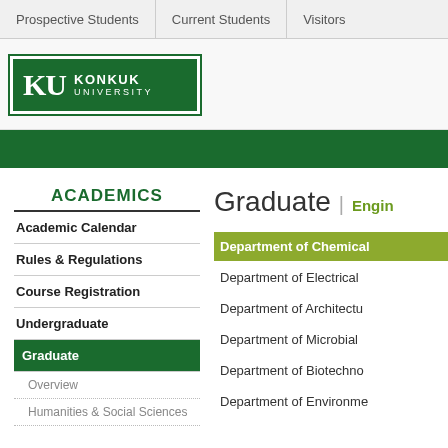Prospective Students | Current Students | Visitors
[Figure (logo): KU Konkuk University logo — dark green background with white KU letters and KONKUK UNIVERSITY text]
ACADEMICS
Academic Calendar
Rules & Regulations
Course Registration
Undergraduate
Graduate (active)
Overview
Humanities & Social Sciences
Graduate | Engineering
Department of Chemical (active)
Department of Electrical
Department of Architecture
Department of Microbial
Department of Biotechnology
Department of Environment